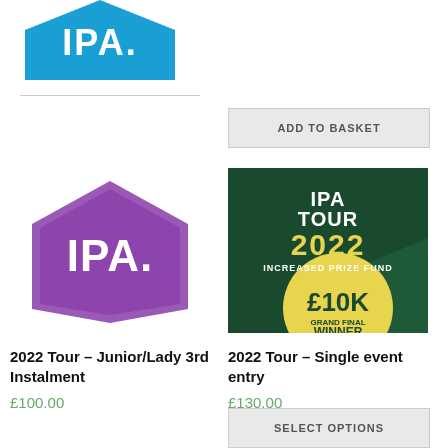[Figure (logo): IPA blue hexagon logo (cropped at top)]
[Figure (logo): IPA purple hexagon logo for 2022 Tour Junior/Lady product]
ADD TO BASKET
[Figure (illustration): IPA Tour 2022 Increased Prize Fund £10K Grand Final Winner promotional image on dark green background]
2022 Tour – Junior/Lady 3rd Instalment
£100.00
2022 Tour – Single event entry
£130.00
SELECT OPTIONS